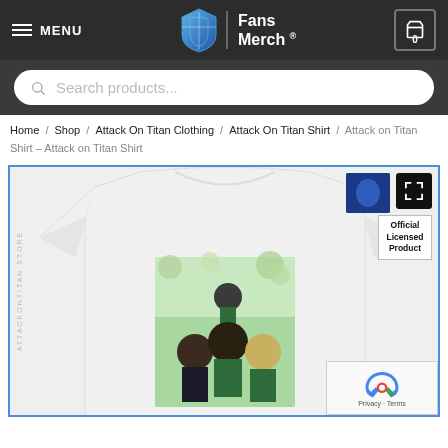MENU | Fans Merch ® | Cart: 0
Search products...
Home / Shop / Attack On Titan Clothing / Attack On Titan Shirt / Attack on Titan Shirt – Attack on Titan Shirt
[Figure (photo): White t-shirt with Attack on Titan anime character artwork printed on the front, showing three main characters (Mikasa, Eren, Armin) with a fourth character in the background. The shirt is displayed on a light gray background within a blue-bordered frame. An 'Official Licensed Product' badge is visible in the top right corner. Watermark text 'ATTACKONTITAN.STORE' is visible on the left side.]